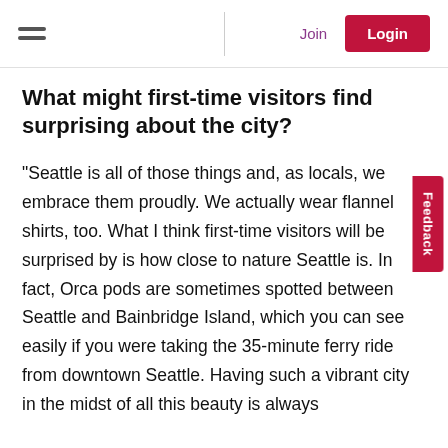Join | Login
What might first-time visitors find surprising about the city?
“Seattle is all of those things and, as locals, we embrace them proudly. We actually wear flannel shirts, too. What I think first-time visitors will be surprised by is how close to nature Seattle is. In fact, Orca pods are sometimes spotted between Seattle and Bainbridge Island, which you can see easily if you were taking the 35-minute ferry ride from downtown Seattle. Having such a vibrant city in the midst of all this beauty is always